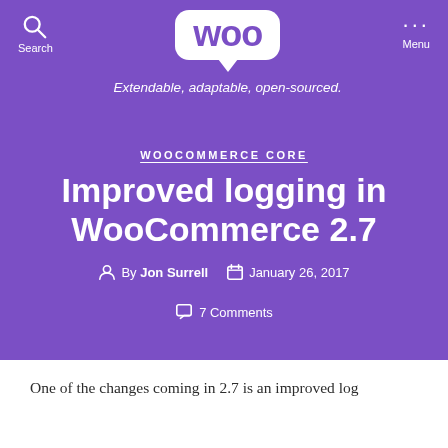Woo — Extendable, adaptable, open-sourced.
WOOCOMMERCE CORE
Improved logging in WooCommerce 2.7
By Jon Surrell   January 26, 2017   7 Comments
One of the changes coming in 2.7 is an improved log